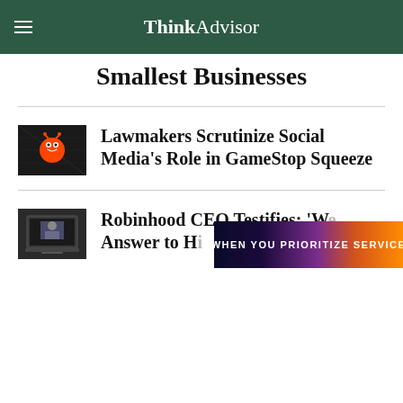ThinkAdvisor
Smallest Businesses
[Figure (photo): Reddit logo button on dark background]
Lawmakers Scrutinize Social Media's Role in GameStop Squeeze
[Figure (photo): Person on laptop screen, news broadcast style]
Robinhood CEO Testifies: ‘W... Answer to H...
[Figure (photo): Advertisement overlay: WHEN YOU PRIORITIZE SERVICE]